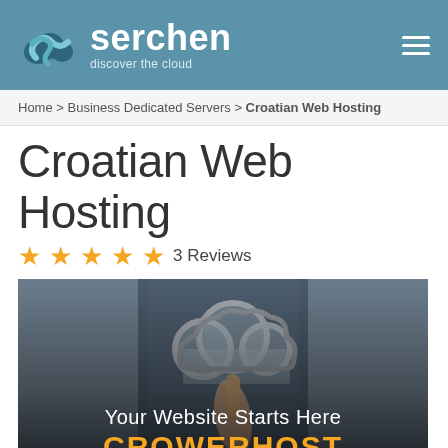serchen — discover the cloud
Home > Business Dedicated Servers > Croatian Web Hosting
Croatian Web Hosting
★★★★★ 3 Reviews
[Figure (photo): Promotional banner image of a person in a suit pressing a cloud icon with 'Your Website Starts Here' and 'CROWERHOST' text overlay]